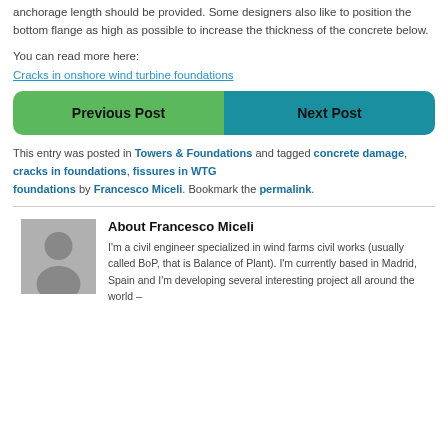anchorage length should be provided. Some designers also like to position the bottom flange as high as possible to increase the thickness of the concrete below.
You can read more here:
Cracks in onshore wind turbine foundations
[Figure (other): Two navigation buttons side by side: green 'Previous Post' button and teal 'Next Post' button]
This entry was posted in Towers & Foundations and tagged concrete damage, cracks in foundations, fissures in WTG foundations by Francesco Miceli. Bookmark the permalink.
[Figure (photo): Grey placeholder avatar image showing silhouette of a person]
About Francesco Miceli
I'm a civil engineer specialized in wind farms civil works (usually called BoP, that is Balance of Plant). I'm currently based in Madrid, Spain and I'm developing several interesting project all around the world –